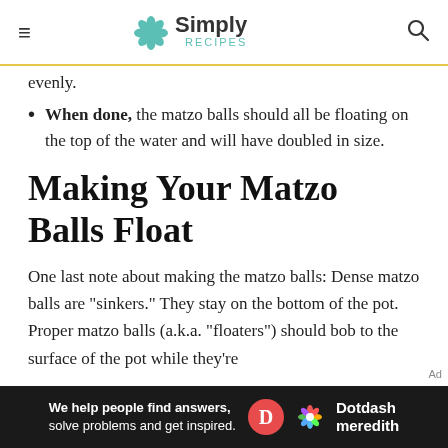Simply Recipes
evenly.
When done, the matzo balls should all be floating on the top of the water and will have doubled in size.
Making Your Matzo Balls Float
One last note about making the matzo balls: Dense matzo balls are "sinkers." They stay on the bottom of the pot. Proper matzo balls (a.k.a. "floaters") should bob to the surface of the pot while they're
[Figure (other): Dotdash Meredith advertisement banner: 'We help people find answers, solve problems and get inspired.' with Dotdash Meredith logo on dark background]